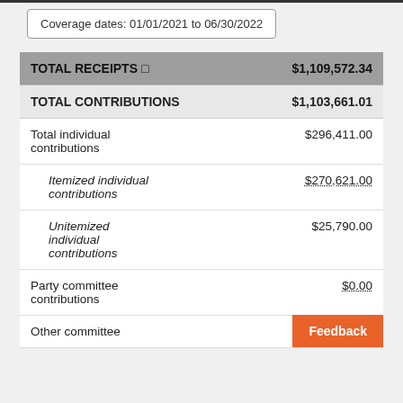Coverage dates: 01/01/2021 to 06/30/2022
|  |  |
| --- | --- |
| TOTAL RECEIPTS | $1,109,572.34 |
| TOTAL CONTRIBUTIONS | $1,103,661.01 |
| Total individual contributions | $296,411.00 |
| Itemized individual contributions | $270,621.00 |
| Unitemized individual contributions | $25,790.00 |
| Party committee contributions | $0.00 |
| Other committee |  |